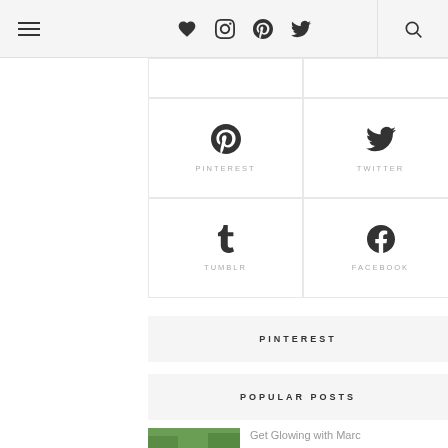Navigation bar with hamburger menu, heart, instagram, pinterest, twitter icons, and search
[Figure (other): Social media icon grid: top partial row (2 cells), Pinterest and Twitter cells, Tumblr and Facebook cells]
PINTEREST
POPULAR POSTS
Get Glowing with Marc